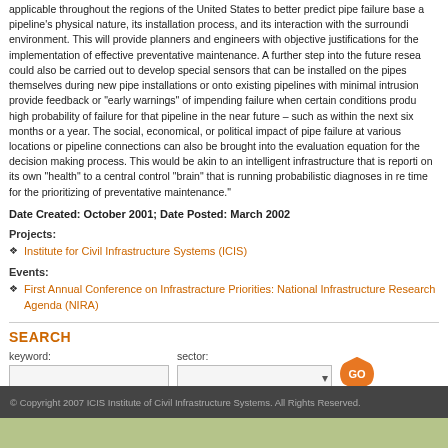applicable throughout the regions of the United States to better predict pipe failure based on a pipeline's physical nature, its installation process, and its interaction with the surrounding environment. This will provide planners and engineers with objective justifications for the implementation of effective preventative maintenance. A further step into the future research could also be carried out to develop special sensors that can be installed on the pipes themselves during new pipe installations or onto existing pipelines with minimal intrusion to provide feedback or "early warnings" of impending failure when certain conditions produce a high probability of failure for that pipeline in the near future – such as within the next six months or a year. The social, economical, or political impact of pipe failure at various locations or pipeline connections can also be brought into the evaluation equation for the decision making process. This would be akin to an intelligent infrastructure that is reporting on its own "health" to a central control "brain" that is running probabilistic diagnoses in real time for the prioritizing of preventative maintenance."
Date Created: October 2001; Date Posted: March 2002
Projects:
Institute for Civil Infrastructure Systems (ICIS)
Events:
First Annual Conference on Infrastracture Priorities: National Infrastructure Research Agenda (NIRA)
SEARCH
keyword:
sector:
© Copyright 2007 ICIS Institute of Civil Infrastructure Systems. All Rights Reserved.